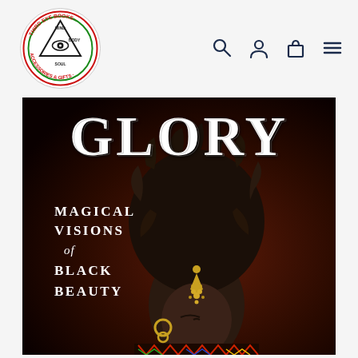[Figure (logo): Third Eye Books, Accessories & Gifts circular logo with all-seeing eye / pyramid in center, red and green text on white background]
[Figure (screenshot): Website navigation icons: search (magnifying glass), account (person silhouette), cart (shopping bag), and hamburger menu]
[Figure (photo): Book cover for 'GLORY: Magical Visions of Black Beauty' — large white serif title GLORY at top, subtitle text on left side, photograph of a Black woman with elaborate box braids updo, gold head jewelry, eyes closed, against a dark red-brown background]